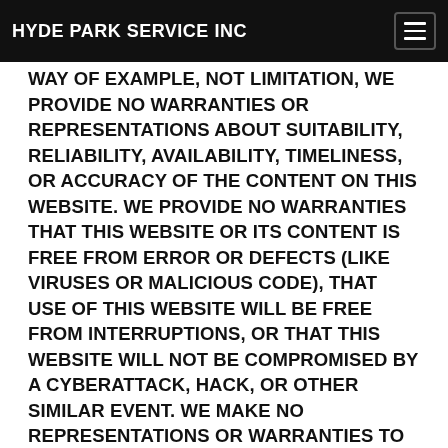HYDE PARK SERVICE INC
WAY OF EXAMPLE, NOT LIMITATION, WE PROVIDE NO WARRANTIES OR REPRESENTATIONS ABOUT SUITABILITY, RELIABILITY, AVAILABILITY, TIMELINESS, OR ACCURACY OF THE CONTENT ON THIS WEBSITE. WE PROVIDE NO WARRANTIES THAT THIS WEBSITE OR ITS CONTENT IS FREE FROM ERROR OR DEFECTS (LIKE VIRUSES OR MALICIOUS CODE), THAT USE OF THIS WEBSITE WILL BE FREE FROM INTERRUPTIONS, OR THAT THIS WEBSITE WILL NOT BE COMPROMISED BY A CYBERATTACK, HACK, OR OTHER SIMILAR EVENT. WE MAKE NO REPRESENTATIONS OR WARRANTIES TO ANY ACTUAL OR PROSPECTIVE PURCHASER OR OWNER OF ANY ITEM AS TO THE EXISTENCE, OWNERSHIP, OR CONDITION